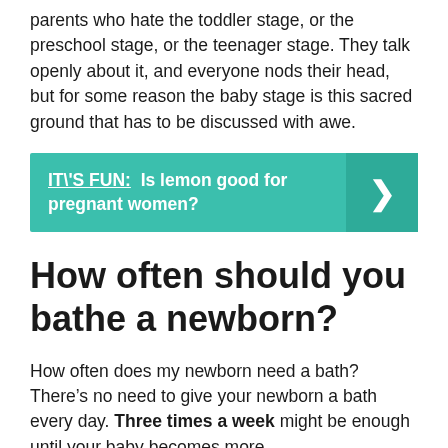parents who hate the toddler stage, or the preschool stage, or the teenager stage. They talk openly about it, and everyone nods their head, but for some reason the baby stage is this sacred ground that has to be discussed with awe.
IT\'S FUN: Is lemon good for pregnant women?
How often should you bathe a newborn?
How often does my newborn need a bath? There’s no need to give your newborn a bath every day. Three times a week might be enough until your baby becomes more